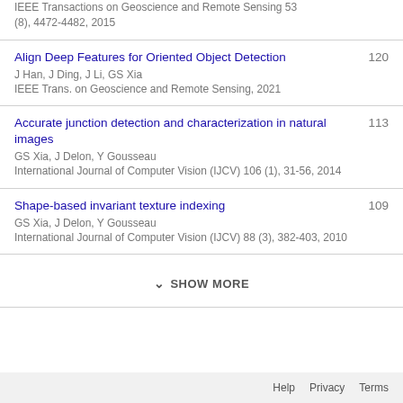IEEE Transactions on Geoscience and Remote Sensing 53 (8), 4472-4482, 2015
Align Deep Features for Oriented Object Detection
J Han, J Ding, J Li, GS Xia
IEEE Trans. on Geoscience and Remote Sensing, 2021
120
Accurate junction detection and characterization in natural images
GS Xia, J Delon, Y Gousseau
International Journal of Computer Vision (IJCV) 106 (1), 31-56, 2014
113
Shape-based invariant texture indexing
GS Xia, J Delon, Y Gousseau
International Journal of Computer Vision (IJCV) 88 (3), 382-403, 2010
109
SHOW MORE
Help   Privacy   Terms